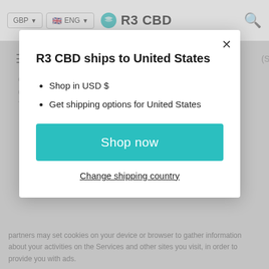[Figure (screenshot): R3 CBD website navigation bar with GBP currency selector, ENG language selector with UK flag, R3 CBD teal logo, and search icon]
[Figure (screenshot): Modal dialog overlay on R3 CBD website showing shipping country selection for United States]
R3 CBD ships to United States
Shop in USD $
Get shipping options for United States
Shop now
Change shipping country
partners may set cookies on your device or browser to gather information about your activities on the Services and other sites you visit, in order to provide you with ads.